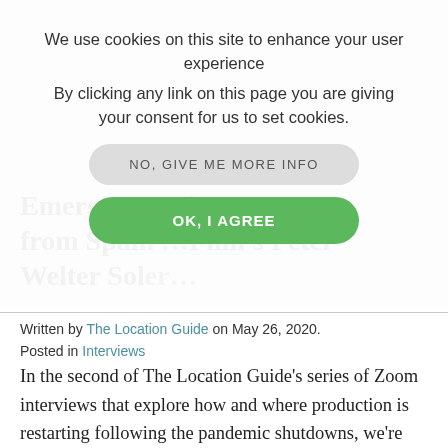We use cookies on this site to enhance your user experience
By clicking any link on this page you are giving your consent for us to set cookies.
NO, GIVE ME MORE INFO
OK, I AGREE
Emerging... view from Spain ...Film's Peter Welter So...
Written by The Location Guide on May 26, 2020.
Posted in Interviews
In the second of The Location Guide's series of Zoom interviews that explore how and where production is restarting following the pandemic shutdowns, we're delighted to speak with Peter Welter Soler, executive producer and partner at Spain's Fresco Film.